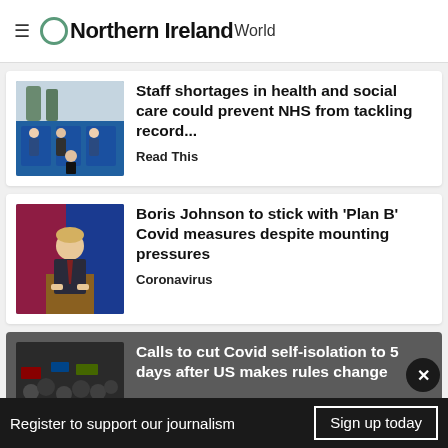Northern Ireland World
Staff shortages in health and social care could prevent NHS from tackling record...
Read This
Boris Johnson to stick with 'Plan B' Covid measures despite mounting pressures
Coronavirus
Calls to cut Covid self-isolation to 5 days after US makes rules change
Register to support our journalism
Sign up today